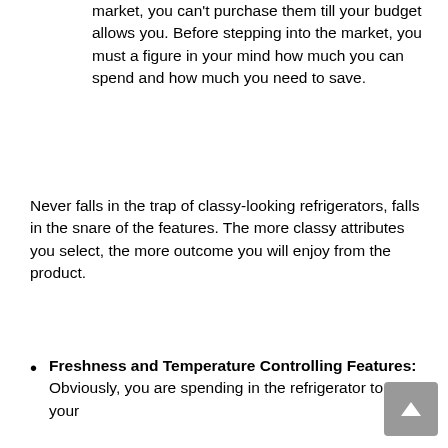market, you can't purchase them till your budget allows you. Before stepping into the market, you must a figure in your mind how much you can spend and how much you need to save.
Never falls in the trap of classy-looking refrigerators, falls in the snare of the features. The more classy attributes you select, the more outcome you will enjoy from the product.
Freshness and Temperature Controlling Features: Obviously, you are spending in the refrigerator to keep your